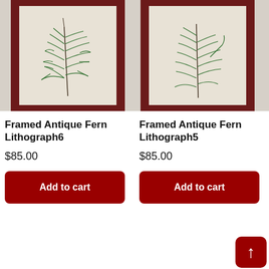[Figure (photo): Framed antique fern lithograph #6 — botanical illustration of a fern in a dark red/maroon frame, cream mat background, photographed against a grey surface.]
Framed Antique Fern Lithograph6
$85.00
Add to cart
[Figure (photo): Framed antique fern lithograph #5 — botanical illustration of a fern in a dark red/maroon frame, cream mat background, photographed against a grey surface.]
Framed Antique Fern Lithograph5
$85.00
Add to cart